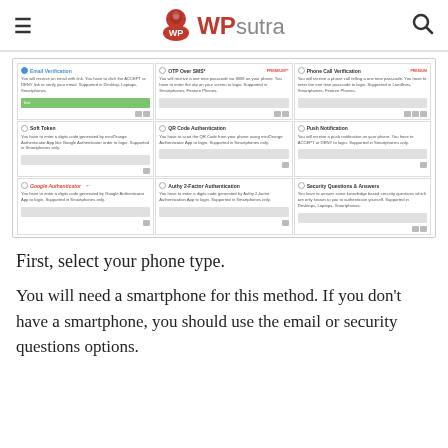WPsutra
[Figure (screenshot): Screenshot of a WordPress plugin authentication options panel showing: Email Verification (selected/active), OTP Over SMS (PREMIUM), Phone Call Verification (PREMIUM), Soft Token, QR Code Authentication, Push Notification, Google Authenticator (highlighted with red arrow), Authy 2-Factor Authentication, Security Questions & Answers. Each option has a 'How to Setup?' link and device icons.]
First, select your phone type.
You will need a smartphone for this method. If you don't have a smartphone, you should use the email or security questions options.